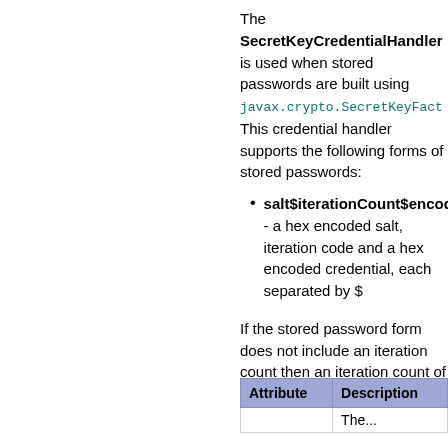The SecretKeyCredentialHandler is used when stored passwords are built using javax.crypto.SecretKeyFact... This credential handler supports the following forms of stored passwords:
salt$iterationCount$encod... - a hex encoded salt, iteration code and a hex encoded credential, each separated by $
If the stored password form does not include an iteration count then an iteration count of 1 is used.
If the stored password form does not include salt then no salt is used.
| Attribute | Description |
| --- | --- |
|  | The... |